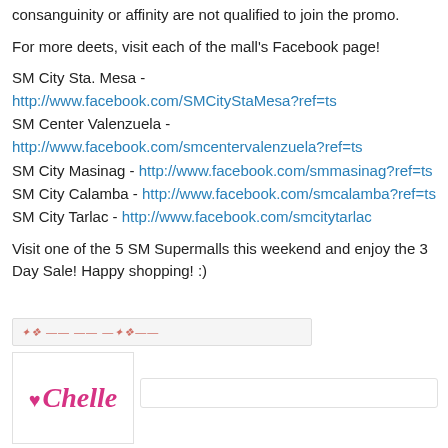consanguinity or affinity are not qualified to join the promo.
For more deets, visit each of the mall's Facebook page!
SM City Sta. Mesa - http://www.facebook.com/SMCityStaMesa?ref=ts
SM Center Valenzuela - http://www.facebook.com/smcentervalenzuela?ref=ts
SM City Masinag - http://www.facebook.com/smmasinag?ref=ts
SM City Calamba - http://www.facebook.com/smcalamba?ref=ts
SM City Tarlac - http://www.facebook.com/smcitytarlac
Visit one of the 5 SM Supermalls this weekend and enjoy the 3 Day Sale! Happy shopping! :)
[Figure (other): Social sharing bar with faint red/pink text icons]
[Figure (logo): Chelle blog logo in cursive magenta font with a heart symbol]